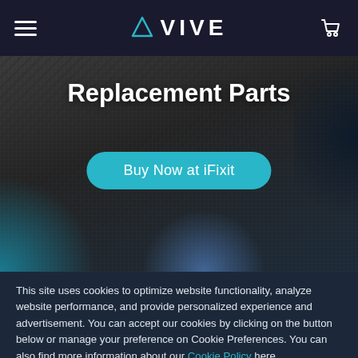VIVE
Replacement Parts
Buy Now at iFixit
This site uses cookies to optimize website functionality, analyze website performance, and provide personalized experience and advertisement. You can accept our cookies by clicking on the button below or manage your preference on Cookie Preferences. You can also find more information about our Cookie Policy here.
Accept
Cookie preferences >